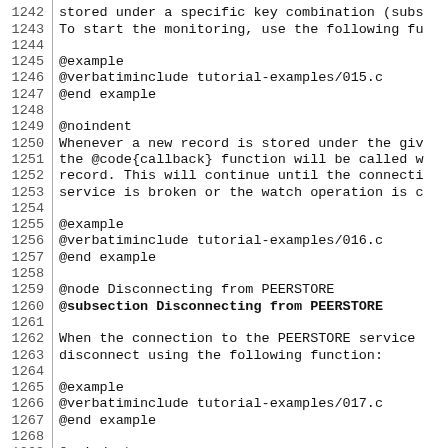1242  stored under a specific key combination (subs
1243  To start the monitoring, use the following fu
1244
1245  @example
1246  @verbatiminclude tutorial-examples/015.c
1247  @end example
1248
1249  @noindent
1250  Whenever a new record is stored under the giv
1251  the @code{callback} function will be called w
1252  record. This will continue until the connecti
1253  service is broken or the watch operation is c
1254
1255  @example
1256  @verbatiminclude tutorial-examples/016.c
1257  @end example
1258
1259  @node Disconnecting from PEERSTORE
1260  @subsection Disconnecting from PEERSTORE
1261
1262  When the connection to the PEERSTORE service
1263  disconnect using the following function:
1264
1265  @example
1266  @verbatiminclude tutorial-examples/017.c
1267  @end example
1268
1269  @noindent
1270  If the @code{sync_first} flag is set to @code
1271  the API will delay the disconnection until a